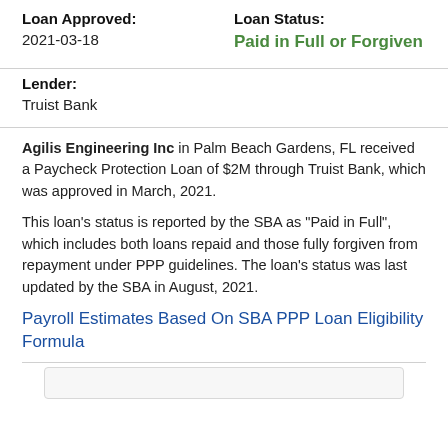Loan Approved:
Loan Status:
2021-03-18
Paid in Full or Forgiven
Lender:
Truist Bank
Agilis Engineering Inc in Palm Beach Gardens, FL received a Paycheck Protection Loan of $2M through Truist Bank, which was approved in March, 2021.
This loan's status is reported by the SBA as "Paid in Full", which includes both loans repaid and those fully forgiven from repayment under PPP guidelines. The loan's status was last updated by the SBA in August, 2021.
Payroll Estimates Based On SBA PPP Loan Eligibility Formula